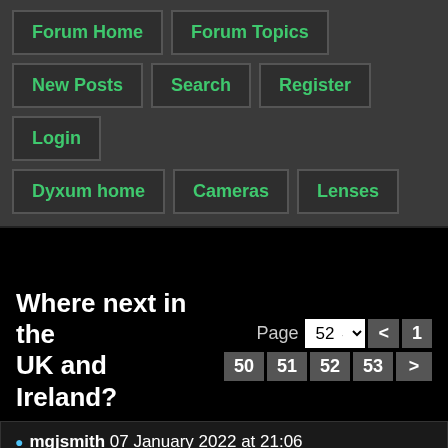[Figure (screenshot): Navigation panel with buttons: Forum Home, Forum Topics, New Posts, Search, Register, Login, Dyxum home, Cameras, Lenses]
Where next in the UK and Ireland?
Page 52 < 1 50 51 52 53 >
• mgjsmith 07 January 2022 at 21:06
Quote Reply
Well, if pubs are involved then its a